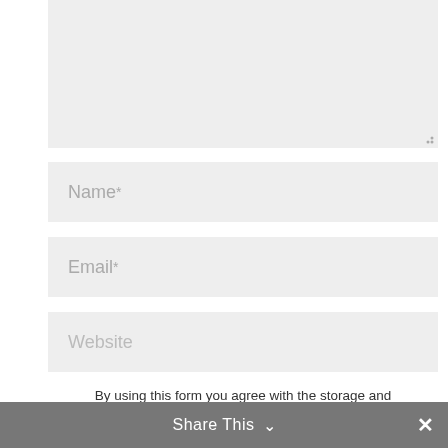[Figure (screenshot): Textarea input field with light grey background and resize handle at bottom right corner]
Name *
Email *
Website
By using this form you agree with the storage and handling of your data by this website. Click here to view our Privacy Policy *
Share This
Submit Comment